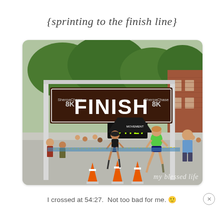{sprinting to the finish line}
[Figure (photo): Runners crossing a FINISH line at a Sherpa Chase 8K race. A large brown banner reads FINISH with Sherpa Chase 8K on both sides. A race clock shows :54:27. Orange traffic cones mark the course. A woman in green and another runner approach the finish line. Spectators and race crew visible on the sides. A black tent with signage in background. Trees and a brick building visible. Watermark reads 'my blessed life' in bottom right corner.]
I crossed at 54:27.  Not too bad for me. 🙂